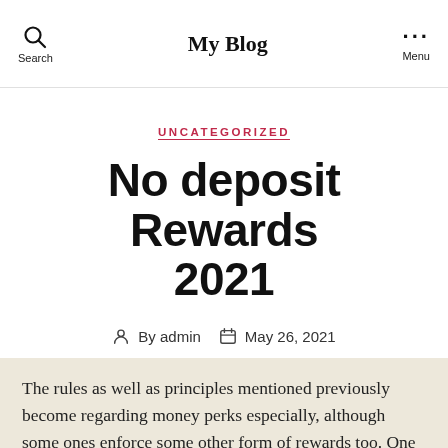My Blog
UNCATEGORIZED
No deposit Rewards 2021
By admin   May 26, 2021
The rules as well as principles mentioned previously become regarding money perks especially, although some ones enforce some other form of rewards too. One of the more known style of excess brings, no deposit